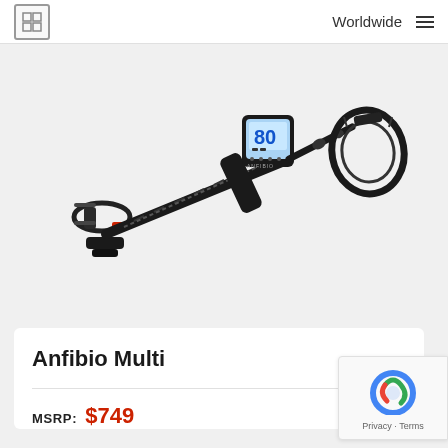Worldwide
[Figure (photo): Product photo of the Anfibio Multi metal detector, shown diagonally. Features a black shaft with arm cuff on the left, a square digital display unit in the center, and a circular search coil on the right end.]
Anfibio Multi
MSRP: $749